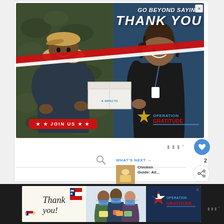[Figure (illustration): Operation Gratitude advertisement. Dark blue background with white bold italic text reading 'GO BEYOND SAYING THANK YOU'. Photo shows a military service member in camouflage uniform and tan cap receiving/exchanging a white care package box with a civilian woman in black, smiling at each other. Red and white ribbon stripe across the image. Red button with stars reading '★ ★ JOIN US ★ ★'. Operation Gratitude logo with star/flag emblem in bottom right. Close/X button in top right corner.]
[Figure (infographic): Wordmark dots UI element (three dots with degree symbol)]
[Figure (infographic): Heart/like button (blue circle with heart icon), count of 2, and share button (circle with share icon)]
[Figure (infographic): Search bar with magnifying glass icon]
WHAT'S NEXT →
Chicken Guide: All...
[Figure (illustration): Bottom Operation Gratitude advertisement banner on dark background. Left section shows 'Thank you!' in script handwriting with a flag-themed pencil. Center shows three people wearing masks holding soap/care items. Right shows Operation Gratitude logo. Wordmark dots on far right.]